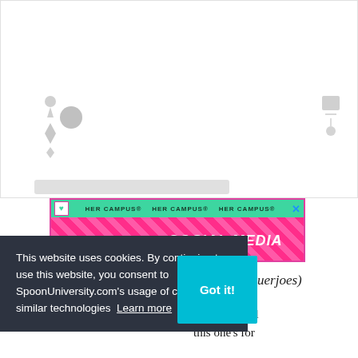[Figure (screenshot): Top portion of a webpage showing a loading/placeholder image area with gray icons and an input bar placeholder]
[Figure (screenshot): HER CAMPUS advertisement banner: 'BECOME A LEADER IN SOCIAL MEDIA' in pink/magenta with teal top bar]
uerjoes)
hack that will this one's for
This website uses cookies. By continuing to use this website, you consent to SpoonUniversity.com's usage of cookies and similar technologies Learn more
Got it!